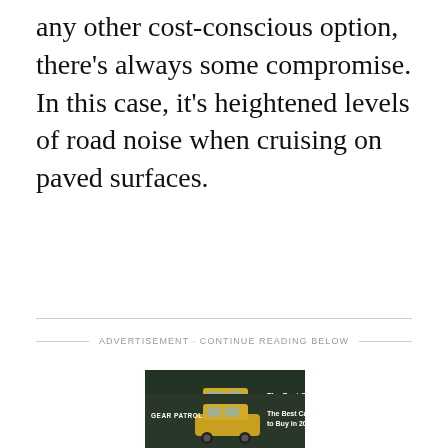any other cost-conscious option, there's always some compromise. In this case, it's heightened levels of road noise when cruising on paved surfaces.
ADVERTISEMENT · CONTINUE READING BELOW
[Figure (photo): Gear Patrol advertisement banner showing a yellow SUV in a forest with text 'The Best Cars to Buy in 2021']
[Figure (photo): Gear Patrol advertisement banner (second instance) showing a yellow SUV in a forest with text 'The Best Cars to Buy in 2021']